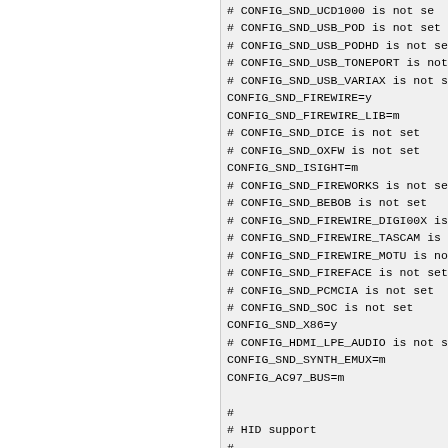# CONFIG_SND_UCD1000 is not set
# CONFIG_SND_USB_POD is not set
# CONFIG_SND_USB_PODHD is not set
# CONFIG_SND_USB_TONEPORT is not set
# CONFIG_SND_USB_VARIAX is not set
CONFIG_SND_FIREWIRE=y
CONFIG_SND_FIREWIRE_LIB=m
# CONFIG_SND_DICE is not set
# CONFIG_SND_OXFW is not set
CONFIG_SND_ISIGHT=m
# CONFIG_SND_FIREWORKS is not set
# CONFIG_SND_BEBOB is not set
# CONFIG_SND_FIREWIRE_DIGI00X is not set
# CONFIG_SND_FIREWIRE_TASCAM is not set
# CONFIG_SND_FIREWIRE_MOTU is not set
# CONFIG_SND_FIREFACE is not set
# CONFIG_SND_PCMCIA is not set
# CONFIG_SND_SOC is not set
CONFIG_SND_X86=y
# CONFIG_HDMI_LPE_AUDIO is not set
CONFIG_SND_SYNTH_EMUX=m
CONFIG_AC97_BUS=m

#
# HID support
#
CONFIG_HID=y
CONFIG_HID_BATTERY_STRENGTH=y
CONFIG_HIDRAW=y
CONFIG_UHID=m
CONFIG_HID_GENERIC=y

#